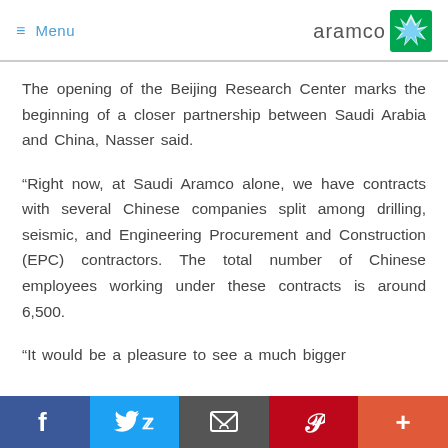≡ Menu | aramco
The opening of the Beijing Research Center marks the beginning of a closer partnership between Saudi Arabia and China, Nasser said.
“Right now, at Saudi Aramco alone, we have contracts with several Chinese companies split among drilling, seismic, and Engineering Procurement and Construction (EPC) contractors. The total number of Chinese employees working under these contracts is around 6,500.
“It would be a pleasure to see a much bigger